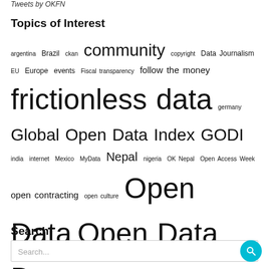Tweets by OKFN
Topics of Interest
argentina Brazil ckan community copyright Data Journalism EU Europe events Fiscal transparency follow the money frictionless data germany Global Open Data Index GODI india internet Mexico MyData Nepal nigeria OK Nepal Open Access Week open contracting open culture Open Data Open Data Day open data day 2018 open data day 2019 Open Data Day 2020 Open Data Day 2021 open data index Open Economics open government open government data Open Knowledge Open Knowledge Foundation open mapping open science open source OpenSpending open spending personal data policy research
Search